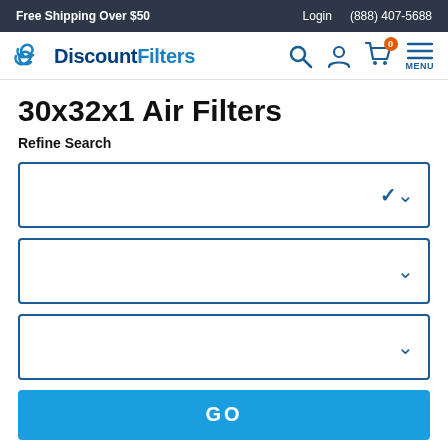Free Shipping Over $50 | Login | (888) 407-5688
[Figure (logo): DiscountFilters logo with blue swirl icon and text 'DiscountFilters']
30x32x1 Air Filters
Refine Search
[Figure (other): Dropdown selector box 1 with blue border and chevron]
[Figure (other): Dropdown selector box 2 with blue border and chevron]
[Figure (other): Dropdown selector box 3 with blue border and chevron]
[Figure (other): GO button in blue]